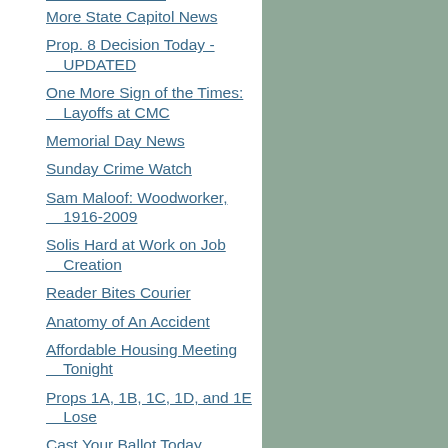More State Capitol News
Prop. 8 Decision Today - UPDATED
One More Sign of the Times: Layoffs at CMC
Memorial Day News
Sunday Crime Watch
Sam Maloof: Woodworker, 1916-2009
Solis Hard at Work on Job Creation
Reader Bites Courier
Anatomy of An Accident
Affordable Housing Meeting Tonight
Props 1A, 1B, 1C, 1D, and 1E Lose
Cast Your Ballot Today
Monday Mailbag
TV Today